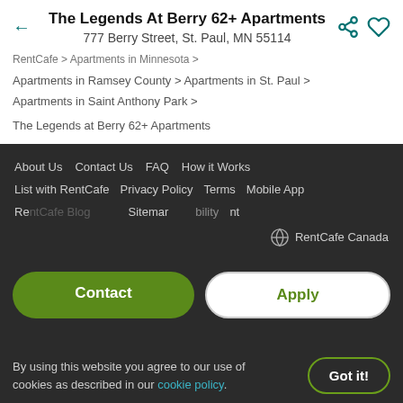The Legends At Berry 62+ Apartments
777 Berry Street, St. Paul, MN 55114
RentCafe > Apartments in Minnesota >
Apartments in Ramsey County > Apartments in St. Paul >
Apartments in Saint Anthony Park >
The Legends at Berry 62+ Apartments
About Us   Contact Us   FAQ   How it Works
List with RentCafe   Privacy Policy   Terms   Mobile App
Re... Sitemap... Accessibility... ...
RentCafe Canada
Contact
Apply
By using this website you agree to our use of cookies as described in our cookie policy.
Got it!